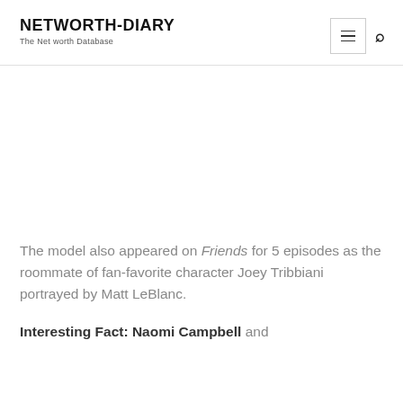NETWORTH-DIARY
The Net worth Database
The model also appeared on Friends for 5 episodes as the roommate of fan-favorite character Joey Tribbiani portrayed by Matt LeBlanc.
Interesting Fact: Naomi Campbell and